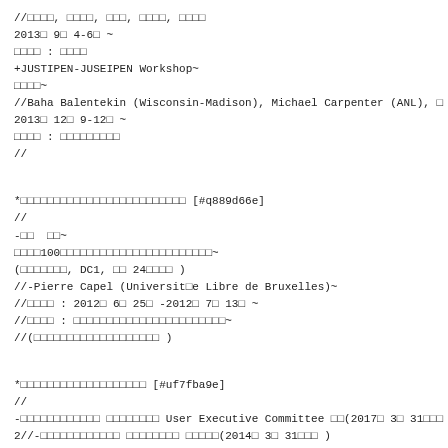//□□□□, □□□□, □□□, □□□□, □□□□
2013□ 9□ 4-6□ ~
□□□□ : □□□□
+JUSTIPEN-JUSEIPEN Workshop~
□□□□~
//Baha Balentekin (Wisconsin-Madison), Michael Carpenter (ANL), □
2013□ 12□ 9-12□ ~
□□□□ : □□□□□□□□□
//
*□□□□□□□□□□□□□□□□□□□□□□□□□ [#q889d66e]
//
-□□  □□~
□□□□100□□□□□□□□□□□□□□□□□□□□□□□□~
(□□□□□□□, DC1, □□ 24□□□□ )
//-Pierre Capel (Universit□e Libre de Bruxelles)~
//□□□□ : 2012□ 6□ 25□ -2012□ 7□ 13□ ~
//□□□□ : □□□□□□□□□□□□□□□□□□□□□□□□□~
//(□□□□□□□□□□□□□□□□□□□ )
*□□□□□□□□□□□□□□□□□□□ [#uf7fba9e]
//
-□□□□□□□□□□□□ □□□□□□□□ User Executive Committee □□(2017□ 3□ 31□□□ )
2//-□□□□□□□□□□□□ □□□□□□□□ □□□□□(2014□ 3□ 31□□□ )
//-□□□□□□□□□□□□ □□□□(2014□ 3□ 31□□□ )
//-□□□□□□□□□□□□□ □□□□□□□□□□□□□□□(B-PAC)□□(2013□ 3□ 31□□□ )